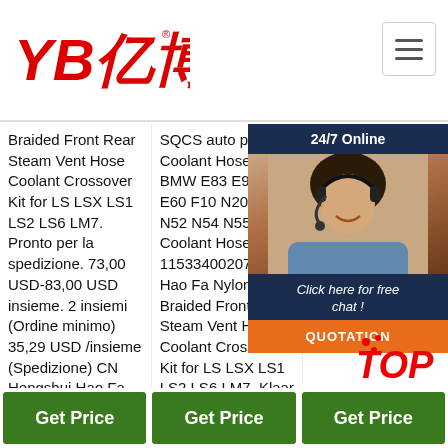YB亿博 logo and navigation header
Braided Front Rear Steam Vent Hose Coolant Crossover Kit for LS LSX LS1 LS2 LS6 LM7. Pronto per la spedizione. 73,00 USD-83,00 USD insieme. 2 insiemi (Ordine minimo) 35,29 USD /insieme (Spedizione) CN Hengshui Hao Fa Rubber & Plastic Products Co., Ltd. 4 YRS. Contatta il fornitore. Ad. 1/6.
SQCS auto parts Coolant Hose For BMW E83 E90 E66 E60 F10 N20 N46 N52 N54 N55 Coolant Hose oe 11533400207. ... Hao Fa Nylon Braided Front Rear Steam Vent Hose Coolant Crossover Kit for LS LSX LS1 LS2 LS6 LM7. Klaar voor verzending. US$ 73,00-US$ 83,00 set. 2 sets ...
Discover new energy vehicles sky schlauchset Alibaba Products Kühlsystem helpfully voluntarily Wir verkaufen nissen rb20det schlauchset Produkte sind fortschrittliche Kühlsysteme.
[Figure (photo): Customer service representative with headset, chat widget overlay with '24/7 Online' header, 'Click here for free chat!' text, and orange QUOTATION button]
Get Price
Get Price
Get Price